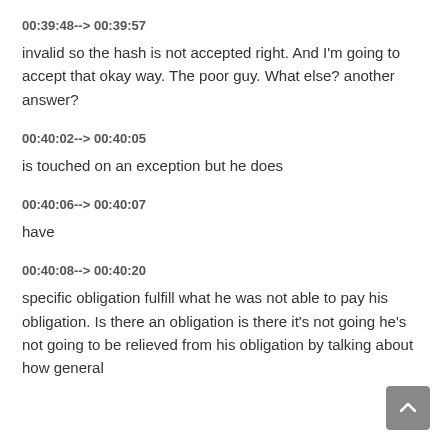00:39:48--> 00:39:57
invalid so the hash is not accepted right. And I'm going to accept that okay way. The poor guy. What else? another answer?
00:40:02--> 00:40:05
is touched on an exception but he does
00:40:06--> 00:40:07
have
00:40:08--> 00:40:20
specific obligation fulfill what he was not able to pay his obligation. Is there an obligation is there it's not going he's not going to be relieved from his obligation by talking about how general